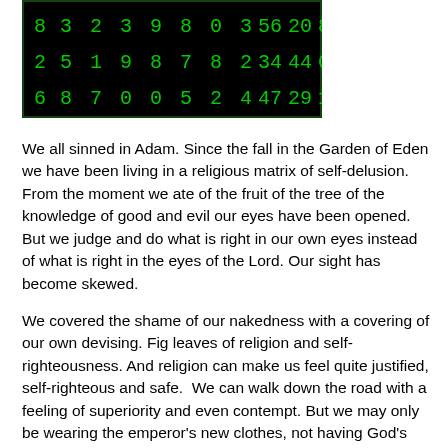[Figure (other): A dark matrix-style image with green digits on black background showing three rows of numbers: '8  3 2 3 9 8 0 3 6 0   5 2 8', '2  5 1 9 8 7 8 2 4 4   3 4 0', '6  8 7 0 0 5 2 4 7 9   4 2 1']
We all sinned in Adam. Since the fall in the Garden of Eden we have been living in a religious matrix of self-delusion. From the moment we ate of the fruit of the tree of the knowledge of good and evil our eyes have been opened. But we judge and do what is right in our own eyes instead of what is right in the eyes of the Lord. Our sight has become skewed.
We covered the shame of our nakedness with a covering of our own devising. Fig leaves of religion and self-righteousness. And religion can make us feel quite justified, self-righteous and safe.  We can walk down the road with a feeling of superiority and even contempt. But we may only be wearing the emperor's new clothes, not having God's covering upon our flesh but one of our own devising. We have made a garment of fig leaves by casting aside the word of the Lord and formulating doctrines contrary to the word of God, doctrines that twist the pure words of the Lord. If we have not actively done this we may